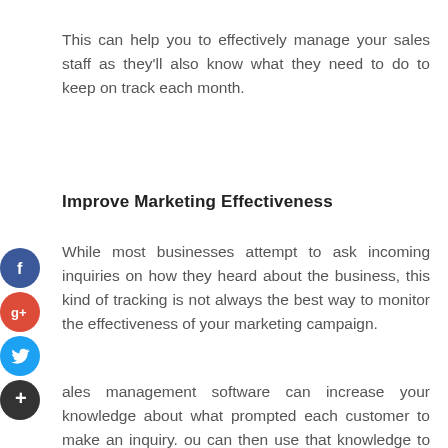This can help you to effectively manage your sales staff as they'll also know what they need to do to keep on track each month.
Improve Marketing Effectiveness
While most businesses attempt to ask incoming inquiries on how they heard about the business, this kind of tracking is not always the best way to monitor the effectiveness of your marketing campaign.
Sales management software can increase your knowledge about what prompted each customer to make an inquiry. You can then use that knowledge to replicate successful campaigns or tweak any marketing efforts that aren't performing as well as you'd like.